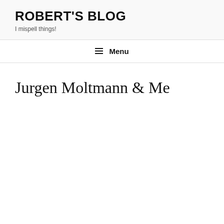ROBERT'S BLOG
I mispell things!
☰ Menu
Jurgen Moltmann & Me